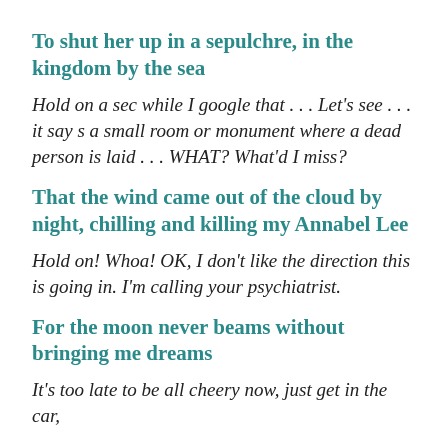To shut her up in a sepulchre, in the kingdom by the sea
Hold on a sec while I google that . . . Let's see . . . it say s a small room or monument where a dead person is laid . . . WHAT?  What'd I miss?
That the wind came out of the cloud by night, chilling and killing my Annabel Lee
Hold on!  Whoa!  OK, I don't like the direction this is going in.  I'm calling your psychiatrist.
For the moon never beams without bringing me dreams
It's too late to be all cheery now, just  get in the car,